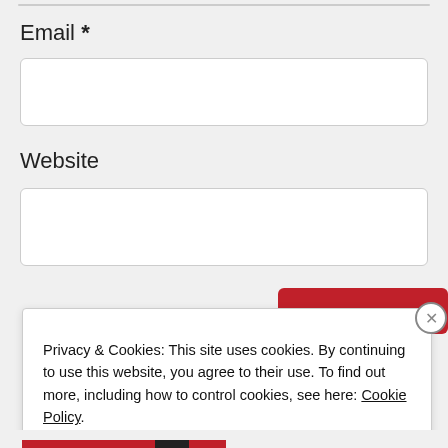Email *
[Figure (screenshot): Empty email input field with rounded border]
Website
[Figure (screenshot): Empty website input field with rounded border]
Privacy & Cookies: This site uses cookies. By continuing to use this website, you agree to their use. To find out more, including how to control cookies, see here: Cookie Policy
Close and accept